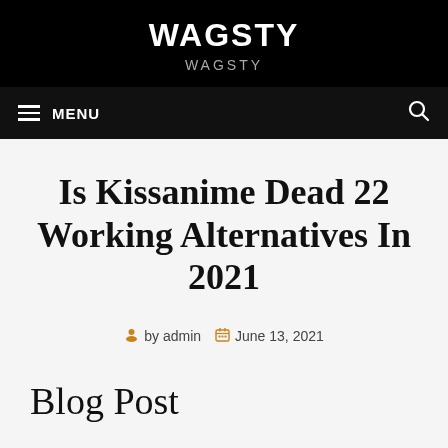WAGSTY
WAGSTY
MENU
Is Kissanime Dead 22 Working Alternatives In 2021
by admin   June 13, 2021
Blog Post